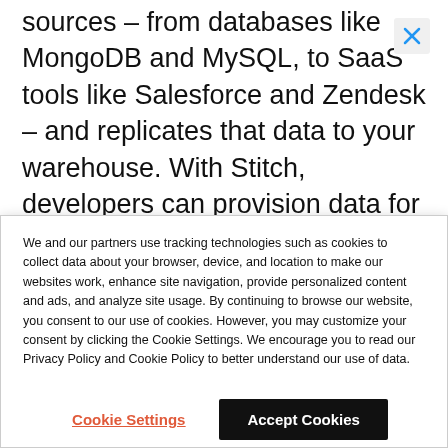sources – from databases like MongoDB and MySQL, to SaaS tools like Salesforce and Zendesk – and replicates that data to your warehouse. With Stitch, developers can provision data for their internal users in minutes, not weeks.
[Figure (illustration): Checklist icon (checkbox with checkmark and list lines)]
We and our partners use tracking technologies such as cookies to collect data about your browser, device, and location to make our websites work, enhance site navigation, provide personalized content and ads, and analyze site usage. By continuing to browse our website, you consent to our use of cookies. However, you may customize your consent by clicking the Cookie Settings. We encourage you to read our Privacy Policy and Cookie Policy to better understand our use of data.
Cookie Settings
Accept Cookies